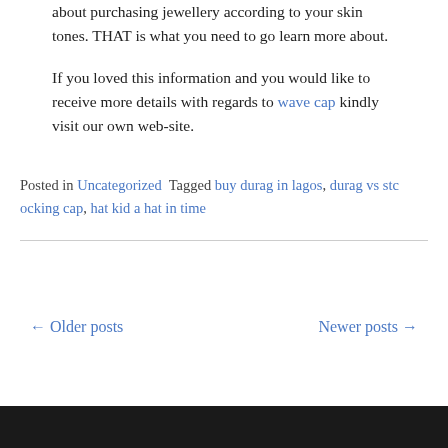about purchasing jewellery according to your skin tones. THAT is what you need to go learn more about.
If you loved this information and you would like to receive more details with regards to wave cap kindly visit our own web-site.
Posted in Uncategorized  Tagged buy durag in lagos, durag vs stc ocking cap, hat kid a hat in time
← Older posts
Newer posts →